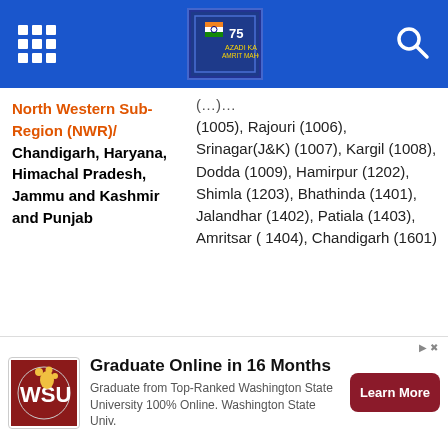North Western Sub-Region (NWR) navigation header with grid icon, center logo, and search icon
(1005), Rajouri (1006), Srinagar(J&K) (1007), Kargil (1008), Dodda (1009), Hamirpur (1202), Shimla (1203), Bhathinda (1401), Jalandhar (1402), Patiala (1403), Amritsar ( 1404), Chandigarh (1601)
North Western Sub-Region (NWR)/ Chandigarh, Haryana, Himachal Pradesh, Jammu and Kashmir and Punjab
Guntur (8001), Kurnool (8003), Rajahmundry (8004), Tirupati (8006), Vishakhapatnam (8007),